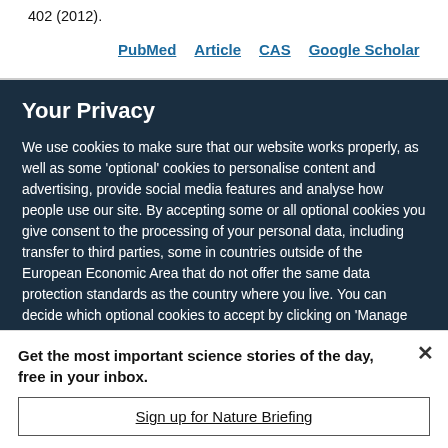402 (2012).
PubMed  Article  CAS  Google Scholar
Your Privacy
We use cookies to make sure that our website works properly, as well as some ‘optional’ cookies to personalise content and advertising, provide social media features and analyse how people use our site. By accepting some or all optional cookies you give consent to the processing of your personal data, including transfer to third parties, some in countries outside of the European Economic Area that do not offer the same data protection standards as the country where you live. You can decide which optional cookies to accept by clicking on ‘Manage Settings’, where you can
Get the most important science stories of the day, free in your inbox.
Sign up for Nature Briefing